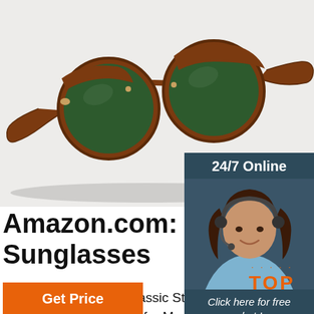[Figure (photo): Tortoiseshell bifocal sunglasses with round green lenses on light gray background]
[Figure (photo): Customer service representative with headset; 24/7 Online banner, Click here for free chat and QUOTATION button overlay]
Amazon.com: Cheap Bi Sunglasses
EYEGUARD Unisex Classic Style Bifocal Readers with Lens UV400 Protection Out Glasses for Men and Women. 4.4 out of 5 $12.99. $12. . 99 ($12.99/Count) Get it as soon as Wed, Aug 25. FREE Shipping on orders over $25 shipped by Amazon.
[Figure (other): TOP scroll-to-top button with orange dots and text]
Get Price